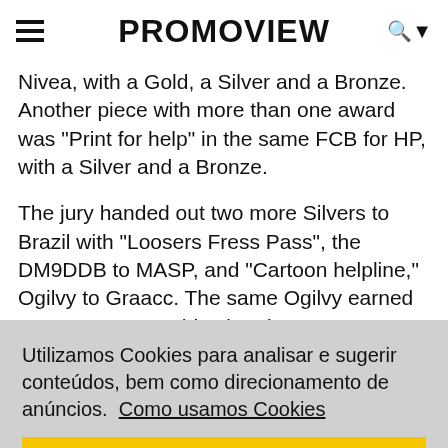PROMOVIEW
Nivea, with a Gold, a Silver and a Bronze. Another piece with more than one award was "Print for help" in the same FCB for HP, with a Silver and a Bronze.
The jury handed out two more Silvers to Brazil with "Loosers Fress Pass", the DM9DDB to MASP, and "Cartoon helpline," Ogilvy to Graacc. The same Ogilvy earned a Bronze to "IBM bitcoin rain" to IBM. Bronze went to another Low'Lara\TBWA, with "The contagious billboard" of Cafe Cacique and Lief for Publicis Brasil with
Utilizamos Cookies para analisar e sugerir conteúdos, bem como direcionamento de anúncios.  Como usamos Cookies
Aceito
Bronze for DM9 for the other two.